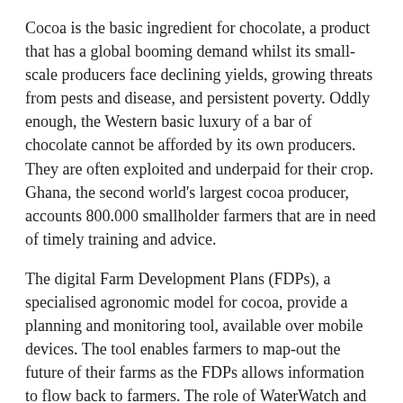Cocoa is the basic ingredient for chocolate, a product that has a global booming demand whilst its small-scale producers face declining yields, growing threats from pests and disease, and persistent poverty. Oddly enough, the Western basic luxury of a bar of chocolate cannot be afforded by its own producers. They are often exploited and underpaid for their crop. Ghana, the second world's largest cocoa producer, accounts 800.000 smallholder farmers that are in need of timely training and advice.
The digital Farm Development Plans (FDPs), a specialised agronomic model for cocoa, provide a planning and monitoring tool, available over mobile devices. The tool enables farmers to map-out the future of their farms as the FDPs allows information to flow back to farmers. The role of WaterWatch and its partners is translating satellite data into information that can be incorporated into FDPs to increase yields of smallholder cocoa farms and help farmers become more resilient, sustainable and profitable. The target group consists of 240,000 Ghanaian smallholder cocoa farmers, 30% of which are women and young cocoa farmers below the age of 35.